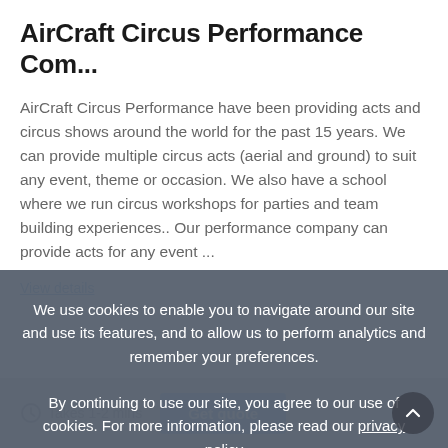AirCraft Circus Performance Com...
AirCraft Circus Performance have been providing acts and circus shows around the world for the past 15 years. We can provide multiple circus acts (aerial and ground) to suit any event, theme or occasion. We also have a school where we run circus workshops for parties and team building experiences.. Our performance company can provide acts for any event ...
View details
We use cookies to enable you to navigate around our site and use its features, and to allow us to perform analytics and remember your preferences.
By continuing to use our site, you agree to our use of cookies. For more information, please read our privacy policy
I agree
Takes 1-2 mins   Get quote